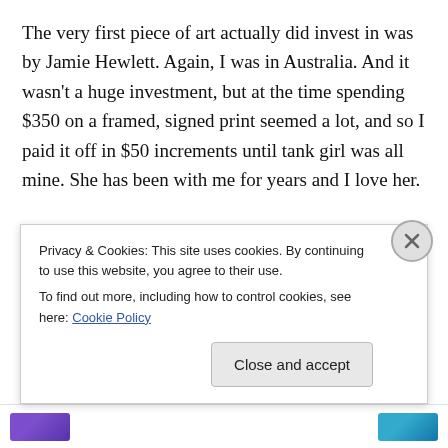The very first piece of art actually did invest in was by Jamie Hewlett. Again, I was in Australia. And it wasn't a huge investment, but at the time spending $350 on a framed, signed print seemed a lot, and so I paid it off in $50 increments until tank girl was all mine. She has been with me for years and I love her.
We are very lucky to be surrounded by talented artists within our immediate and extended family, and our close friends. So we not only get to invest in our future when we buy, but we get to invest in theirs. How deliciously
Privacy & Cookies: This site uses cookies. By continuing to use this website, you agree to their use.
To find out more, including how to control cookies, see here: Cookie Policy
Close and accept